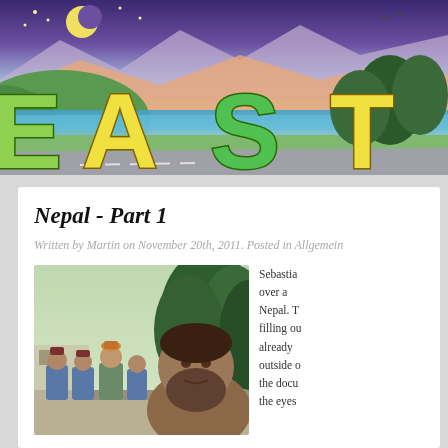[Figure (illustration): Colorful illustrated banner showing a landscape with mountains, river, road, trees, moon and stars at night/dusk. Large stylized letters spelling 'EAST' in yellow and green with 3D effect. Part of the E is visible on left edge.]
Nepal - Part 1
Written by Martin on November 20th, 2011. Posted in Allgemein
[Figure (photo): Photograph showing a group of people including police officers in blue uniforms, a man in traditional Nepali attire with topi hat, and a bearded man in the foreground, standing outdoors on a road with trees in background.]
Sebastian over a Nepal. T filling ou already outside o the docu the eyes